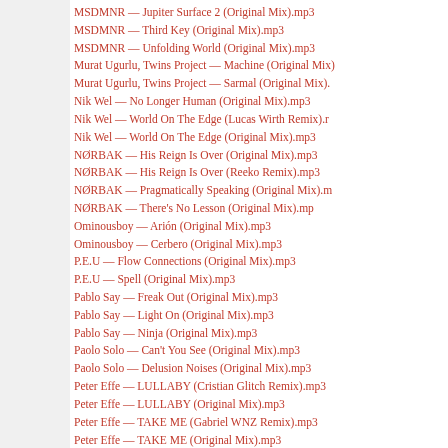MSDMNR — Jupiter Surface 2 (Original Mix).mp3
MSDMNR — Third Key (Original Mix).mp3
MSDMNR — Unfolding World (Original Mix).mp3
Murat Ugurlu, Twins Project — Machine (Original Mix)
Murat Ugurlu, Twins Project — Sarmal (Original Mix).
Nik Wel — No Longer Human (Original Mix).mp3
Nik Wel — World On The Edge (Lucas Wirth Remix).m
Nik Wel — World On The Edge (Original Mix).mp3
NØRBAK — His Reign Is Over (Original Mix).mp3
NØRBAK — His Reign Is Over (Reeko Remix).mp3
NØRBAK — Pragmatically Speaking (Original Mix).m
NØRBAK — There's No Lesson (Original Mix).mp3
Ominousboy — Arión (Original Mix).mp3
Ominousboy — Cerbero (Original Mix).mp3
P.E.U — Flow Connections (Original Mix).mp3
P.E.U — Spell (Original Mix).mp3
Pablo Say — Freak Out (Original Mix).mp3
Pablo Say — Light On (Original Mix).mp3
Pablo Say — Ninja (Original Mix).mp3
Paolo Solo — Can't You See (Original Mix).mp3
Paolo Solo — Delusion Noises (Original Mix).mp3
Peter Effe — LULLABY (Cristian Glitch Remix).mp3
Peter Effe — LULLABY (Original Mix).mp3
Peter Effe — TAKE ME (Gabriel WNZ Remix).mp3
Peter Effe — TAKE ME (Original Mix).mp3